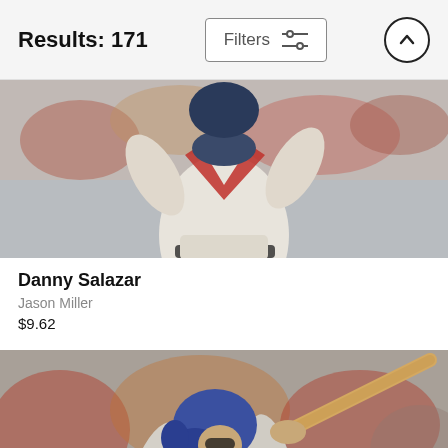Results: 171
[Figure (photo): Baseball pitcher Danny Salazar in white uniform with red and navy accent, hands raised, crowd in background]
Danny Salazar
Jason Miller
$9.62
[Figure (photo): Baseball batter in gray Colorado Rockies uniform with blue batting helmet, swinging bat, crowd in background]